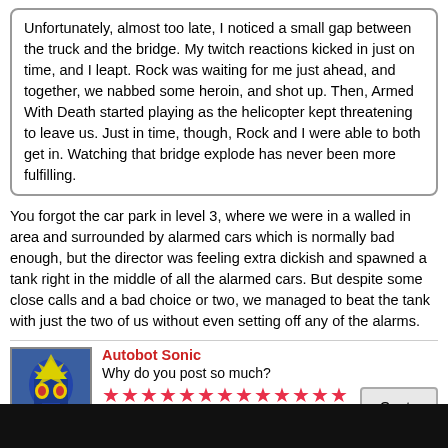Unfortunately, almost too late, I noticed a small gap between the truck and the bridge. My twitch reactions kicked in just on time, and I leapt. Rock was waiting for me just ahead, and together, we nabbed some heroin, and shot up. Then, Armed With Death started playing as the helicopter kept threatening to leave us. Just in time, though, Rock and I were able to both get in. Watching that bridge explode has never been more fulfilling.
You forgot the car park in level 3, where we were in a walled in area and surrounded by alarmed cars which is normally bad enough, but the director was feeling extra dickish and spawned a tank right in the middle of all the alarmed cars. But despite some close calls and a bad choice or two, we managed to beat the tank with just the two of us without even setting off any of the alarms.
Autobot Sonic
Why do you post so much?
[Figure (other): Rating stars — 21 pink/red star icons]
Jun 12, 2015 at 3:41am
@harpadarpa said:
Rock, Carlos and I just played such a kickass run. We played a